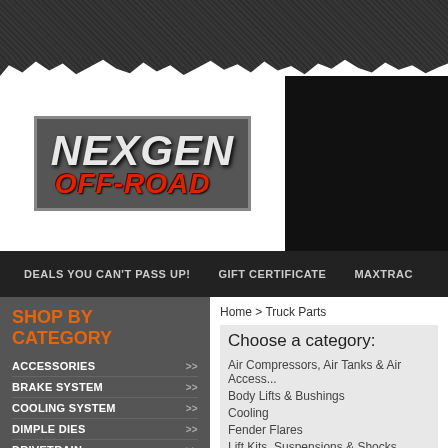[Figure (logo): NexGen Off-Road logo with stylized text in white/grey and red italic font]
DEALS YOU CAN'T PASS UP!   GIFT CERTIFICATE   MAXTRAC
SHOP BY CATEGORY
ACCESSORIES >>
BRAKE SYSTEM >>
COOLING SYSTEM >>
DIMPLE DIES >>
DRIVETRAIN >>
ELECTRICAL >>
ENGINE >>
FABRICATION >>
FIBERGLASS >>
Home > Truck Parts
Choose a category:
Air Compressors, Air Tanks & Air Access...
Body Lifts & Bushings
Cooling
Fender Flares
Lift Kits, Suspensions & Shocks
Outdoor Lifestyle and Camping
Side Steps & Running Boards
Sort By: Price: Low to High  Go